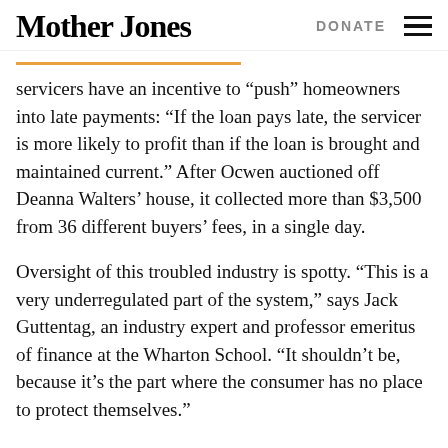Mother Jones | DONATE
servicers have an incentive to “push” homeowners into late payments: “If the loan pays late, the servicer is more likely to profit than if the loan is brought and maintained current.” After Ocwen auctioned off Deanna Walters’ house, it collected more than $3,500 from 36 different buyers’ fees, in a single day.
Oversight of this troubled industry is spotty. “This is a very underregulated part of the system,” says Jack Guttentag, an industry expert and professor emeritus of finance at the Wharton School. “It shouldn’t be, because it’s the part where the consumer has no place to protect themselves.”